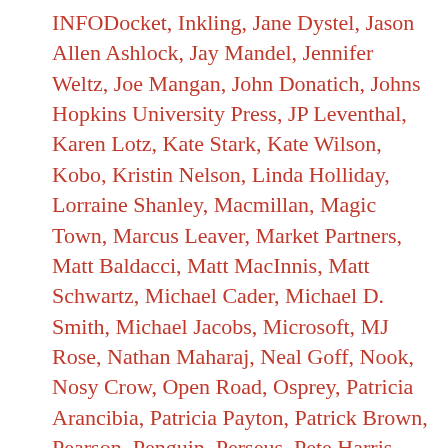INFODocket, Inkling, Jane Dystel, Jason Allen Ashlock, Jay Mandel, Jennifer Weltz, Joe Mangan, John Donatich, Johns Hopkins University Press, JP Leventhal, Karen Lotz, Kate Stark, Kate Wilson, Kobo, Kristin Nelson, Linda Holliday, Lorraine Shanley, Macmillan, Magic Town, Marcus Leaver, Market Partners, Matt Baldacci, Matt MacInnis, Matt Schwartz, Michael Cader, Michael D. Smith, Michael Jacobs, Microsoft, MJ Rose, Nathan Maharaj, Neal Goff, Nook, Nosy Crow, Open Road, Osprey, Patricia Arancibia, Patricia Payton, Patrick Brown, Pearson, Penguin, Perseus, Pete Harris, Pete McCarthy, Peter Hildick-Smith, Poptropica, Porter Anderson, Quarto, Rachel Chou, Random House, Randy Susan Meyers, Reading Rainbow, Rebecca Smart, Rick Joyce, Robert Oeste, RRKidz, Scholastic, Simon Lipskar, Sourcebooks, Stephanie Bowen,